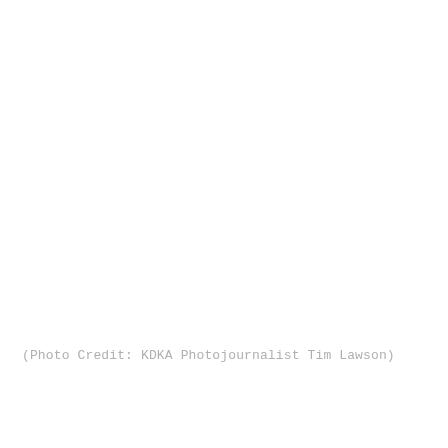(Photo Credit: KDKA Photojournalist Tim Lawson)